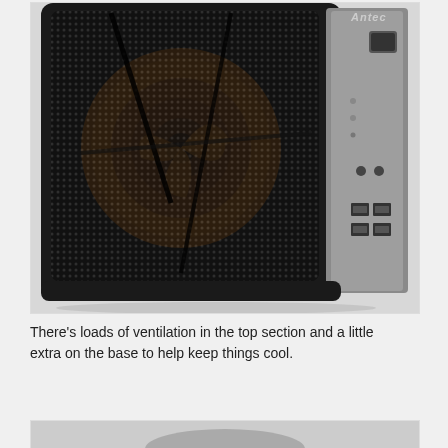[Figure (photo): Photo of an Antec computer case shown from the front-right angle. The front panel is a large black mesh/perforated grille revealing an orange fan inside. The right side panel is silver/aluminum with a power button at the top, indicator LEDs, headphone/mic jacks, and four USB ports. The Antec logo is visible at the top right.]
There's loads of ventilation in the top section and a little extra on the base to help keep things cool.
[Figure (photo): Partial photo of another view of computer hardware, cropped at the bottom of the page.]